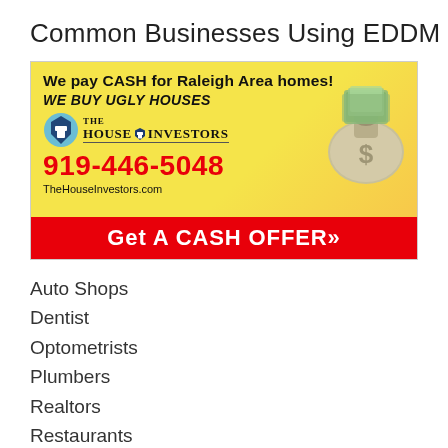Common Businesses Using EDDM
[Figure (illustration): Advertisement for The House Investors: 'We pay CASH for Raleigh Area homes! WE BUY UGLY HOUSES' with logo, phone number 919-446-5048, TheHouseInvestors.com, and red CTA banner 'Get A CASH OFFER»'. Yellow background with money bag image.]
Auto Shops
Dentist
Optometrists
Plumbers
Realtors
Restaurants